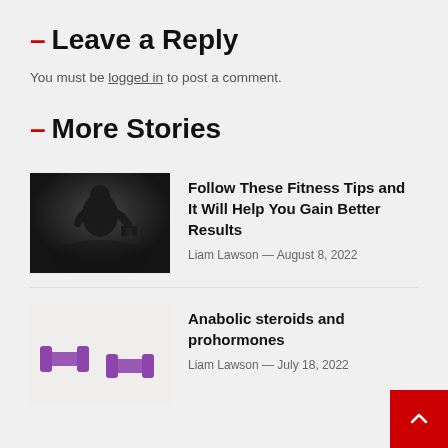– Leave a Reply
You must be logged in to post a comment.
– More Stories
[Figure (photo): Black and white photo of a muscular man lifting a dumbbell]
Follow These Fitness Tips and It Will Help You Gain Better Results
Liam Lawson — August 8, 2022
[Figure (photo): Photo of two purple dumbbells on a light background]
Anabolic steroids and prohormones
Liam Lawson — July 18, 2022